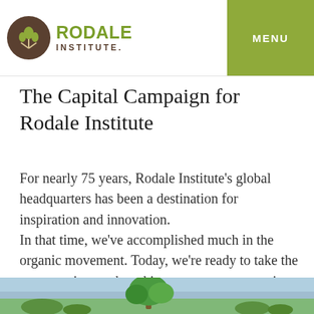Rodale Institute — MENU
The Capital Campaign for Rodale Institute
For nearly 75 years, Rodale Institute's global headquarters has been a destination for inspiration and innovation.
In that time, we've accomplished much in the organic movement. Today, we're ready to take the next step in our shared journey to a regenerative organic future.
[Figure (photo): Landscape photo showing blue sky and green trees at the bottom of the page]